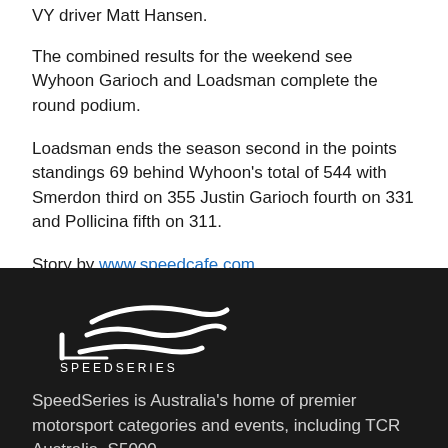VY driver Matt Hansen.
The combined results for the weekend see Wyhoon Garioch and Loadsman complete the round podium.
Loadsman ends the season second in the points standings 69 behind Wyhoon's total of 544 with Smerdon third on 355 Justin Garioch fourth on 331 and Pollicina fifth on 311.
Story by www.speedcafe.com
[Figure (logo): SpeedSeries logo — white stylized swoosh/S graphic above the text SPEEDSERIES on dark background]
SpeedSeries is Australia's home of premier motorsport categories and events, including TCR Australia, S5000,